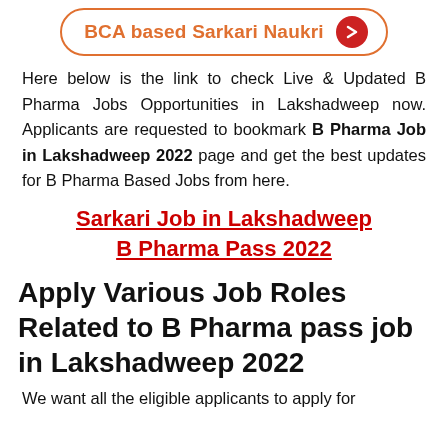[Figure (other): Button/link styled element: 'BCA based Sarkari Naukri' with orange border rounded rectangle and red arrow circle on the right]
Here below is the link to check Live & Updated B Pharma Jobs Opportunities in Lakshadweep now. Applicants are requested to bookmark B Pharma Job in Lakshadweep 2022 page and get the best updates for B Pharma Based Jobs from here.
Sarkari Job in Lakshadweep B Pharma Pass 2022
Apply Various Job Roles Related to B Pharma pass job in Lakshadweep 2022
We want all the eligible applicants to apply for